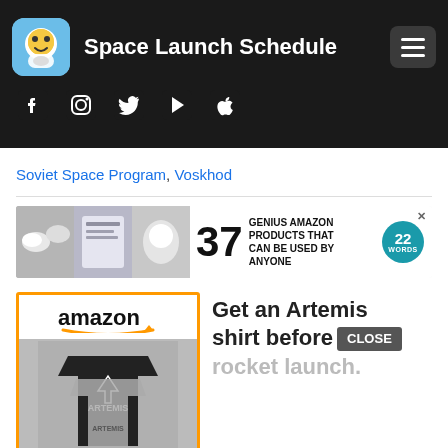Space Launch Schedule
Soviet Space Program, Voskhod
[Figure (infographic): Ad banner: 37 Genius Amazon Products That Can Be Used By Anyone, with 22 Words badge]
[Figure (infographic): Amazon ad showing Artemis t-shirt with text: Get an Artemis shirt before rocket launch. Close button visible.]